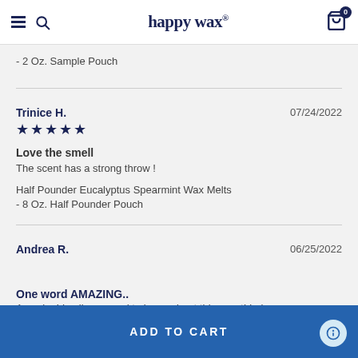happy wax
- 2 Oz. Sample Pouch
Trinice H.
★★★★★
07/24/2022
Love the smell
The scent has a strong throw !
Half Pounder Eucalyptus Spearmint Wax Melts
- 8 Oz. Half Pounder Pouch
Andrea R.
06/25/2022
One word AMAZING..
Amazing! Is all you need to know about this scent! Lol,
ADD TO CART